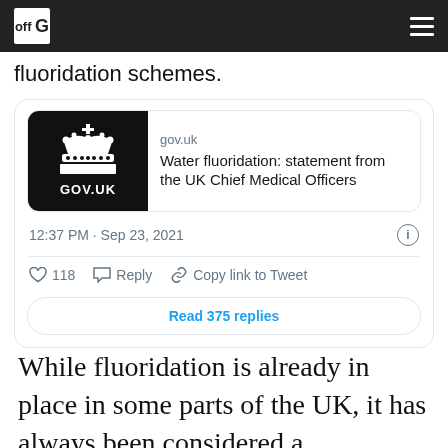off G [navigation logo and hamburger menu]
fluoridation schemes.
[Figure (screenshot): Embedded tweet card showing a GOV.UK link preview for 'Water fluoridation: statement from the UK Chief Medical Officers', with timestamp 12:37 PM · Sep 23, 2021, 118 likes, Reply, Copy link to Tweet actions, and a 'Read 375 replies' button.]
While fluoridation is already in place in some parts of the UK, it has always been considered a